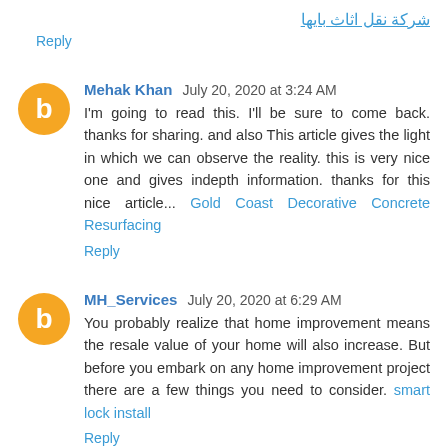شركة نقل اثاث بايها
Reply
Mehak Khan  July 20, 2020 at 3:24 AM
I'm going to read this. I'll be sure to come back. thanks for sharing. and also This article gives the light in which we can observe the reality. this is very nice one and gives indepth information. thanks for this nice article... Gold Coast Decorative Concrete Resurfacing
Reply
MH_Services  July 20, 2020 at 6:29 AM
You probably realize that home improvement means the resale value of your home will also increase. But before you embark on any home improvement project there are a few things you need to consider. smart lock install
Reply